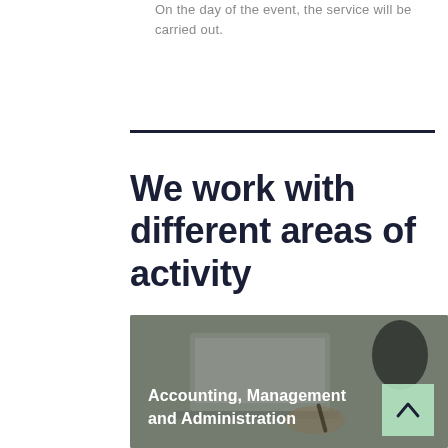On the day of the event, the service will be carried out.
We work with different areas of activity
[Figure (photo): Photo of a person working at a laptop with a pen in hand, used as background for the Accounting, Management and Administration card. Overlaid with dark tint and a mint-green arrow button.]
Accounting, Management and Administration